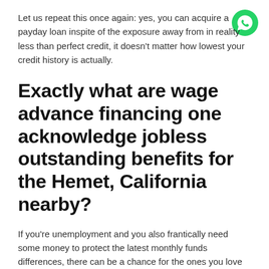Let us repeat this once again: yes, you can acquire a payday loan inspite of the exposure away from in reality less than perfect credit, it doesn't matter how lowest your credit history is actually.
[Figure (logo): WhatsApp green logo icon in top right corner]
Exactly what are wage advance financing one acknowledge jobless outstanding benefits for the Hemet, California nearby?
If you're unemployment and you also frantically need some money to protect the latest monthly funds differences, there can be a chance for the ones you love too. Upload their suggestions via the kind into all of our webpage (click the Connect with this aspect solution) and we will ensure that a